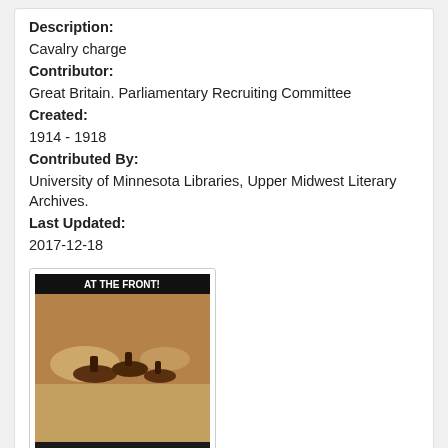Description:
Cavalry charge
Contributor:
Great Britain. Parliamentary Recruiting Committee
Created:
1914 - 1918
Contributed By:
University of Minnesota Libraries, Upper Midwest Literary Archives.
Last Updated:
2017-12-18
[Figure (photo): WWI recruitment poster with cavalry charge image, text reading 'AT THE FRONT! Every fit Briton should join our brave men at the Front. ENLIST NOW.']
At the sign of the red triangle : the